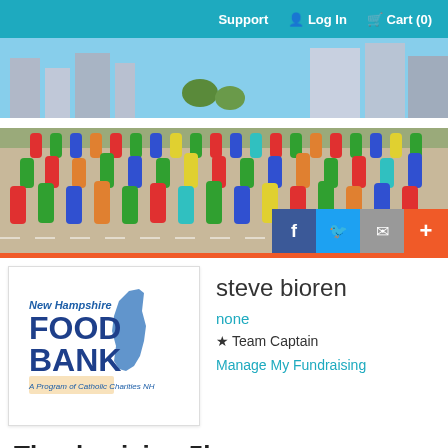Support  Log In  Cart (0)
[Figure (photo): Outdoor running race with large crowd of participants in colorful shirts on a city street, with buildings visible in background. Social sharing buttons (Facebook, Twitter, email, plus) visible in bottom right.]
[Figure (logo): New Hampshire Food Bank logo - A Program of Catholic Charities NH, with state of NH outline graphic]
steve bioren
none
★ Team Captain
Manage My Fundraising
Thanksgiving 5k
$0.00 of $250.00 raised